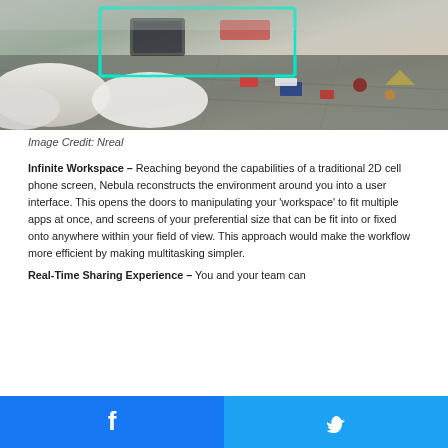[Figure (photo): Overhead view of a room with white pillows/couch, dark marble floor, and various items on the floor, with a cyan/teal AR bounding box overlay visible in the scene (Nreal AR demonstration).]
Image Credit: Nreal
Infinite Workspace – Reaching beyond the capabilities of a traditional 2D cell phone screen, Nebula reconstructs the environment around you into a user interface. This opens the doors to manipulating your 'workspace' to fit multiple apps at once, and screens of your preferential size that can be fit into or fixed onto anywhere within your field of view. This approach would make the workflow more efficient by making multitasking simpler.
Real-Time Sharing Experience – You and your team can
[Figure (other): Social sharing footer bar with Facebook (blue) and Twitter (light blue) buttons side by side.]